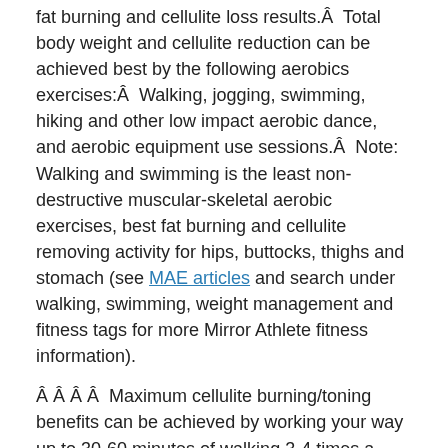fat burning and cellulite loss results.Â  Total body weight and cellulite reduction can be achieved best by the following aerobics exercises:Â  Walking, jogging, swimming, hiking and other low impact aerobic dance, and aerobic equipment use sessions.Â  Note: Walking and swimming is the least non-destructive muscular-skeletal aerobic exercises, best fat burning and cellulite removing activity for hips, buttocks, thighs and stomach (see MAE articles and search under walking, swimming, weight management and fitness tags for more Mirror Athlete fitness information).
Â Â Â Â  Maximum cellulite burning/toning benefits can be achieved by working your way up to 30-60 minutes of walking 3-4 times a week after acclimating to a 15-20 minute aerobics treadmill exercise, or road walking at â€œno cost! â€  Â  Follow me on twitter as â€œMirror Athlete,â€  or by visiting the home site and click on â€œhealth mediaâ€  to view my daily exercise tweet log.Â  Walk when I walk relative to where you are in your program and get fit while you lose